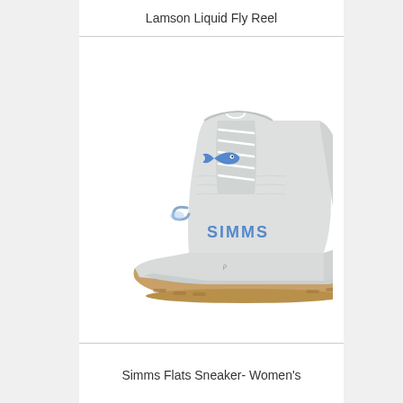Lamson Liquid Fly Reel
[Figure (photo): A Simms Flats Sneaker Women's shoe - high-top athletic/wading shoe in light gray/white colorway with blue Simms logo and fish graphic, gum rubber outsole]
Simms Flats Sneaker- Women's